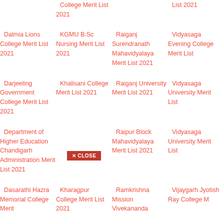College Merit List 2021
List 2021
Dalmia Lions College Merit List 2021
KGMU B.Sc Nursing Merit List 2021
Raiganj Surendranath Mahavidyalaya Merit List 2021
Vidyasaga Evening College Merit List
Darjeeling Government College Merit List 2021
Khalisani College Merit List 2021
Raiganj University Merit List 2021
Vidyasaga University Merit List
Department of Higher Education Chandigarh Administration Merit List 2021
Khandra College Merit List 2021
Raipur Block Mahavidyalaya Merit List 2021
Vidyasaga University Merit List
Dasarathi Hazra Memorial College Merit
Kharagpur College Merit List 2021
Ramkrishna Mission Vivekananda
Vijaygarh Jyotish Ray College M